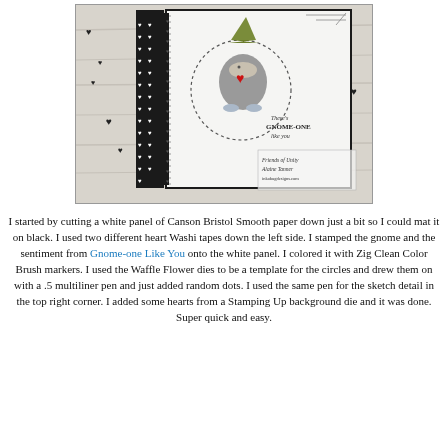[Figure (photo): A handmade greeting card featuring a gnome holding a red heart, stamped on white panel, with heart Washi tape on the left side, a circle drawn around the gnome, and decorative hearts on a wooden background. Text reads 'There's GNOME-ONE like you'. Signed Friends of Unity, Alaine Tanner, inkabugdesigns.com]
I started by cutting a white panel of Canson Bristol Smooth paper down just a bit so I could mat it on black. I used two different heart Washi tapes down the left side. I stamped the gnome and the sentiment from Gnome-one Like You onto the white panel. I colored it with Zig Clean Color Brush markers. I used the Waffle Flower dies to be a template for the circles and drew them on with a .5 multiliner pen and just added random dots. I used the same pen for the sketch detail in the top right corner. I added some hearts from a Stamping Up background die and it was done. Super quick and easy.